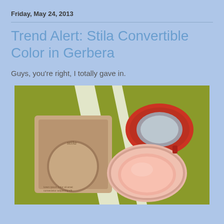Friday, May 24, 2013
Trend Alert: Stila Convertible Color in Gerbera
Guys, you're right, I totally gave in.
[Figure (photo): Photo of Stila Convertible Color product in Gerbera shade: a kraft cardboard box packaging with circular cutout showing the product, beside an open coral/salmon-colored compact with a red lid, all placed on a yellow-green fabric surface with white stripe details.]